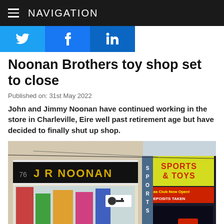NAVIGATION
[Figure (other): Social media share buttons: Twitter (bird icon), Facebook (f icon), LinkedIn (in icon)]
Noonan Brothers toy shop set to close
Published on: 31st May 2022
John and Jimmy Noonan have continued working in the store in Charleville, Eire well past retirement age but have decided to finally shut up shop.
[Figure (photo): Street view photograph of J R Noonan shop front in Charleville, showing the black shop sign with gold lettering 'J R NOONAN', and adjacent Sports & Toys store signage in red and yellow. Shop window displays various goods. Signs include 'Xmas Club Now Open!' and 'Deposits Taken'.]